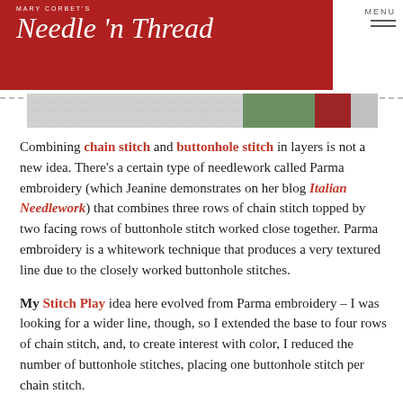MARY CORBET'S Needle 'n Thread
[Figure (photo): Partial photo of embroidery work showing green and red stitching on fabric]
Combining chain stitch and buttonhole stitch in layers is not a new idea. There’s a certain type of needlework called Parma embroidery (which Jeanine demonstrates on her blog Italian Needlework) that combines three rows of chain stitch topped by two facing rows of buttonhole stitch worked close together. Parma embroidery is a whitework technique that produces a very textured line due to the closely worked buttonhole stitches.
My Stitch Play idea here evolved from Parma embroidery – I was looking for a wider line, though, so I extended the base to four rows of chain stitch, and, to create interest with color, I reduced the number of buttonhole stitches, placing one buttonhole stitch per chain stitch.
You can play with this whole idea of stacked stitch combinations, by fiddling with the number of buttonhole stitches in each chain stitch, by stitching your buttonhole stitches from different